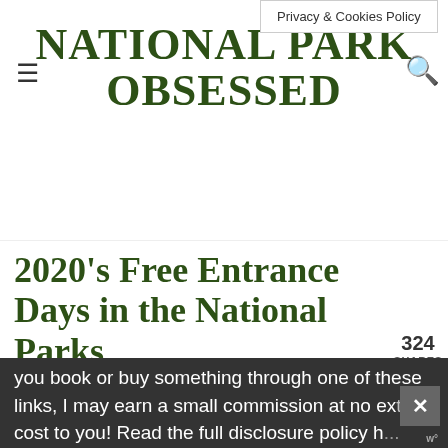Privacy & Cookies Policy
NATIONAL PARK OBSESSED
2020's Free Entrance Days in the National Parks
By: Jennifer Melroy
Last updated: 5 Nov 2019
324 SHARES
This post may contain affiliate links, meaning if you book or buy something through one of these links, I may earn a small commission at no extra cost to you! Read the full disclosure policy h...